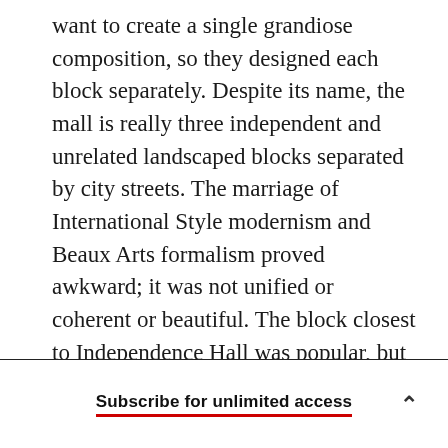want to create a single grandiose composition, so they designed each block separately. Despite its name, the mall is really three independent and unrelated landscaped blocks separated by city streets. The marriage of International Style modernism and Beaux Arts formalism proved awkward; it was not unified or coherent or beautiful. The block closest to Independence Hall was popular, but the rest of the mall was barren and unused except by vagrants.

The mall was completed in the late 1960s. Since 1974 it has been a part of Independence National
Subscribe for unlimited access